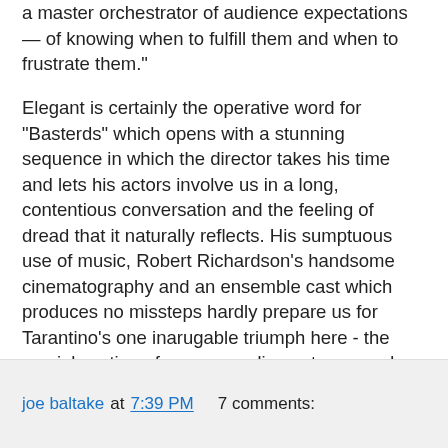a master orchestrator of audience expectations — of knowing when to fulfill them and when to frustrate them."
Elegant is certainly the operative word for "Basterds" which opens with a stunning sequence in which the director takes his time and lets his actors involve us in a long, contentious conversation and the feeling of dread that it naturally reflects. His sumptuous use of music, Robert Richardson's handsome cinematography and an ensemble cast which produces no missteps hardly prepare us for Tarantino's one inarugable triumph here - the crucial casting of a commanding actor named Christoph Waltz whose Nazi character mesmerizes as much as he taunts and frightens.
This is a real movie. Those few critics don't know what they're missing.
Their loss.
joe baltake at 7:39 PM   7 comments: